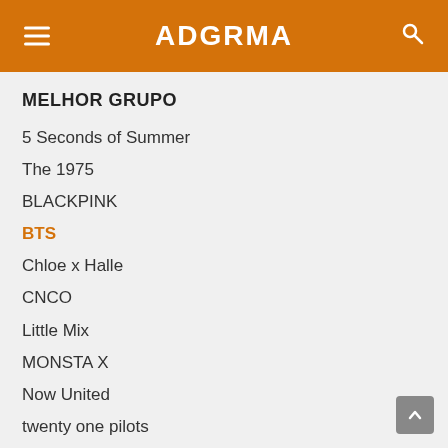ADGRMA
MELHOR GRUPO
5 Seconds of Summer
The 1975
BLACKPINK
BTS
Chloe x Halle
CNCO
Little Mix
MONSTA X
Now United
twenty one pilots
MELHOR CANÇÃO DO VERÃO
BLACKPINK – "How You Like That"